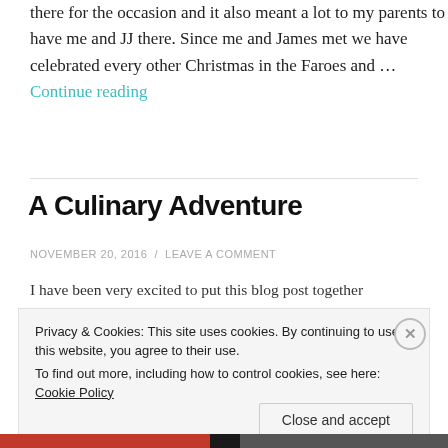there for the occasion and it also meant a lot to my parents to have me and JJ there. Since me and James met we have celebrated every other Christmas in the Faroes and … Continue reading
A Culinary Adventure
NOVEMBER 20, 2016 / LEAVE A COMMENT
I have been very excited to put this blog post together
Privacy & Cookies: This site uses cookies. By continuing to use this website, you agree to their use.
To find out more, including how to control cookies, see here: Cookie Policy
Close and accept